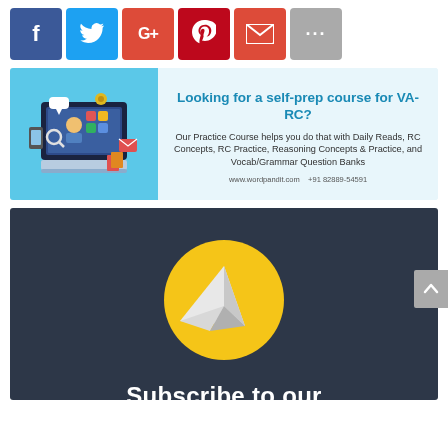[Figure (infographic): Social media share buttons row: Facebook (dark blue), Twitter (light blue), Google+ (red), Pinterest (dark red), Email (red), More/dots (gray)]
[Figure (infographic): Advertisement banner for WordPandit VA-RC self-prep course. Left side shows a laptop with online learning illustration on blue background. Right side on light blue reads: 'Looking for a self-prep course for VA-RC?' with body text 'Our Practice Course helps you do that with Daily Reads, RC Concepts, RC Practice, Reasoning Concepts & Practice, and Vocab/Grammar Question Banks' and footer 'www.wordpandit.com  +91 82889-54591']
[Figure (infographic): Dark navy background subscribe banner with a yellow circle containing a white paper airplane icon. Bottom text 'Subscribe to our' in white bold.]